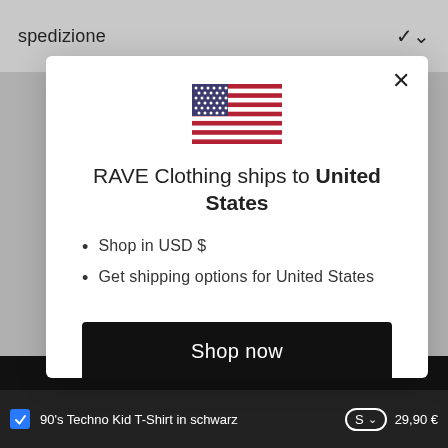spedizione
[Figure (illustration): US flag emoji icon centered in modal]
RAVE Clothing ships to United States
Shop in USD $
Get shipping options for United States
Shop now
Change shipping country
90's Techno Kid T-Shirt in schwarz  S  29,90 €